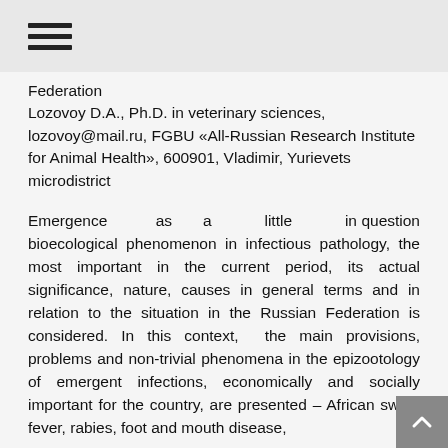☰
Federation
Lozovoy D.A., Ph.D. in veterinary sciences, lozovoy@mail.ru, FGBU «All-Russian Research Institute for Animal Health», 600901, Vladimir, Yurievets microdistrict
Emergence as a little in question bioecological phenomenon in infectious pathology, the most important in the current period, its actual significance, nature, causes in general terms and in relation to the situation in the Russian Federation is considered. In this context, the main provisions, problems and non-trivial phenomena in the epizootology of emergent infections, economically and socially important for the country, are presented – African swine fever, rabies, foot and mouth disease,